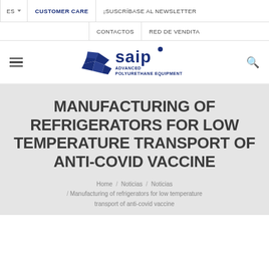ES | CUSTOMER CARE | ¡SUSCRÍBASE AL NEWSLETTER | CONTACTOS | RED DE VENDITA
[Figure (logo): SAIP logo with stylized hands icon and text ADVANCED POLYURETHANE EQUIPMENT]
MANUFACTURING OF REFRIGERATORS FOR LOW TEMPERATURE TRANSPORT OF ANTI-COVID VACCINE
Home / Noticias / Noticias / Manufacturing of refrigerators for low temperature transport of anti-covid vaccine